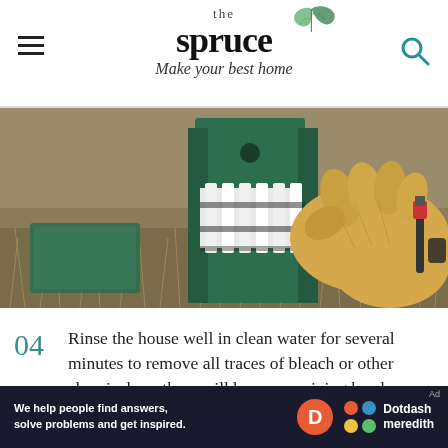the spruce — Make your best home
[Figure (photo): Close-up photo of a person wearing yellow/tan gardening gloves painting or working on a green and white decorative picket fence birdhouse, surrounded by dry grass/mulch. A green rectangular object is visible in the background left.]
04  Rinse the house well in clean water for several minutes to remove all traces of bleach or other chemicals so there will be no remaining harsh chemicals or fumes to
[Figure (infographic): Ad banner: 'We help people find answers, solve problems and get inspired.' Dotdash Meredith logo with orange D circle and colorful dots icon.]